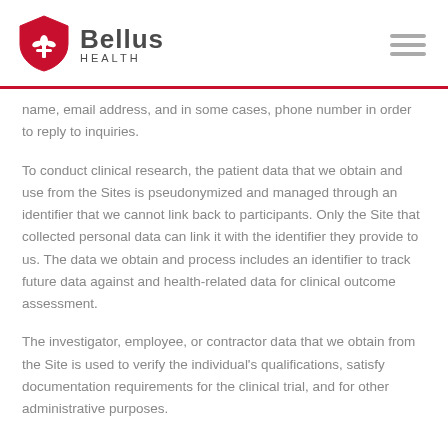Bellus Health
name, email address, and in some cases, phone number in order to reply to inquiries.
To conduct clinical research, the patient data that we obtain and use from the Sites is pseudonymized and managed through an identifier that we cannot link back to participants. Only the Site that collected personal data can link it with the identifier they provide to us. The data we obtain and process includes an identifier to track future data against and health-related data for clinical outcome assessment.
The investigator, employee, or contractor data that we obtain from the Site is used to verify the individual's qualifications, satisfy documentation requirements for the clinical trial, and for other administrative purposes.